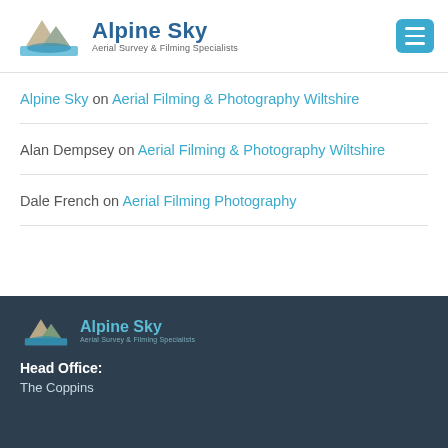[Figure (logo): Alpine Sky logo with mountain and water graphic, text 'Alpine Sky Aerial Survey & Filming Specialists']
Alpine Sky on Aerial Filming & Photography Wiltshire
Alan Dempsey on Aerial Filming & Photography Wiltshire
Dale French on Aerial Filming Photography
[Figure (logo): Alpine Sky footer logo smaller version]
Head Office:
The Coppins